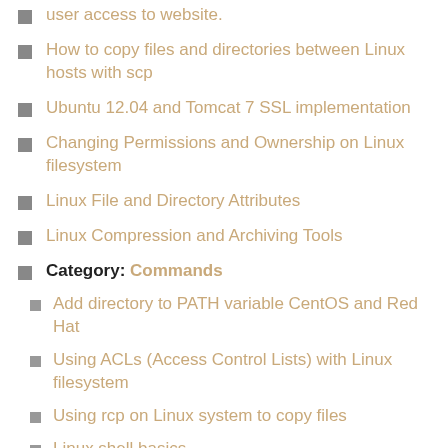user access to website.
How to copy files and directories between Linux hosts with scp
Ubuntu 12.04 and Tomcat 7 SSL implementation
Changing Permissions and Ownership on Linux filesystem
Linux File and Directory Attributes
Linux Compression and Archiving Tools
Category: Commands
Add directory to PATH variable CentOS and Red Hat
Using ACLs (Access Control Lists) with Linux filesystem
Using rcp on Linux system to copy files
Linux shell basics
Linux job scheduling with crontab
Linux job scheduling with at